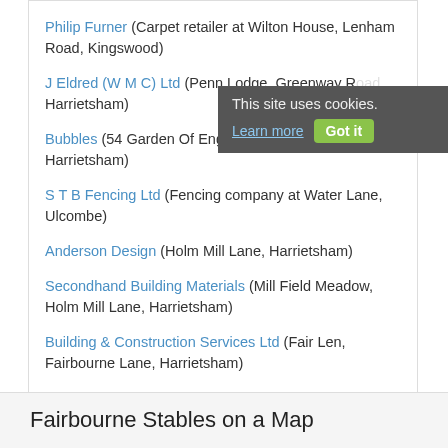Philip Furner (Carpet retailer at Wilton House, Lenham Road, Kingswood)
J Eldred (W M C) Ltd (Penn Lodge, Greenway R... Harrietsham)
Bubbles (54 Garden Of England Park, Forstal Lane, Harrietsham)
S T B Fencing Ltd (Fencing company at Water Lane, Ulcombe)
Anderson Design (Holm Mill Lane, Harrietsham)
Secondhand Building Materials (Mill Field Meadow, Holm Mill Lane, Harrietsham)
Building & Construction Services Ltd (Fair Len, Fairbourne Lane, Harrietsham)
K 9 (Hollowdene, Holm Mill Lane, Harrietsham)
Fairbourne Stables on a Map